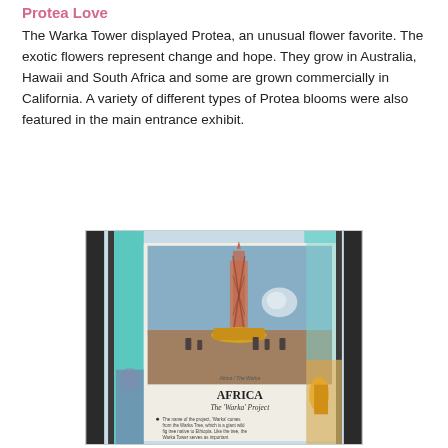Protea Love
The Warka Tower displayed Protea, an unusual flower favorite. The exotic flowers represent change and hope. They grow in Australia, Hawaii and South Africa and some are grown commercially in California. A variety of different types of Protea blooms were also featured in the main entrance exhibit.
[Figure (photo): A photograph of an exhibit display panel showing a tall woven Warka Tower structure (Africa / The Warka Project exhibit), with text describing the project and its significance in Ethiopia. The panel is shown behind glass with reflections visible.]